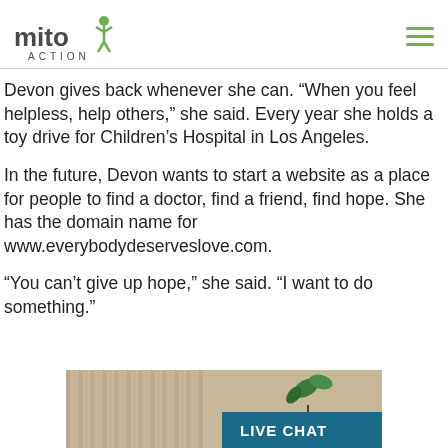mito ACTION
Devon gives back whenever she can. “When you feel helpless, help others,” she said. Every year she holds a toy drive for Children’s Hospital in Los Angeles.
In the future, Devon wants to start a website as a place for people to find a doctor, find a friend, find hope. She has the domain name for www.everybodydeserveslove.com.
“You can’t give up hope,” she said. “I want to do something.”
[Figure (photo): Photo showing curtains and a plant, with a teal LIVE CHAT button overlay at the bottom right]